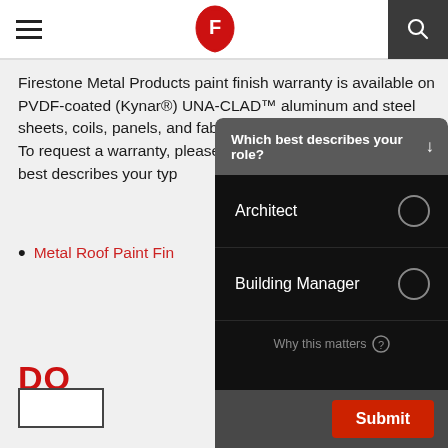Firestone Metal Products - header navigation
Firestone Metal Products paint finish warranty is available on PVDF-coated (Kynar®) UNA-CLAD™ aluminum and steel sheets, coils, panels, and fabricated parts.
To request a warranty, please click on the link below that best describes your typ
Metal Roof Paint Fin
DO
[Figure (screenshot): A modal overlay popup with dark gray header reading 'Which best describes your role?' with a down arrow, followed by a black panel with two radio button options: 'Architect' and 'Building Manager', a 'Why this matters' help link, and a red Submit button at the bottom on a dark gray footer bar.]